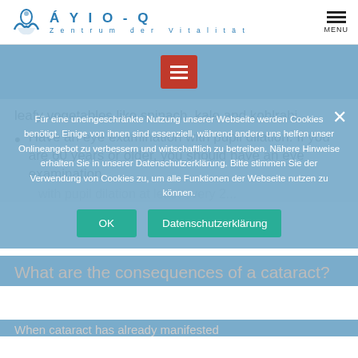ÁYIO-Q — Zentrum der Vitalität
[Figure (screenshot): Blue banner with a red square menu button containing three white horizontal lines]
leafy vegetables like spinach, kale and kohlrabi.
Have an eye examination with pupil dilation. If you are 60 years or older, you should have an eye examination with pupil dilation at least every 2
with pupil dilation at least every 2...
Für eine uneingeschränkte Nutzung unserer Webseite werden Cookies benötigt. Einige von ihnen sind essenziell, während andere uns helfen unser Onlineangebot zu verbessern und wirtschaftlich zu betreiben. Nähere Hinweise erhalten Sie in unserer Datenschutzerklärung. Bitte stimmen Sie der Verwendung von Cookies zu, um alle Funktionen der Webseite nutzen zu können.
What are the consequences of a cataract?
When cataract has already manifested